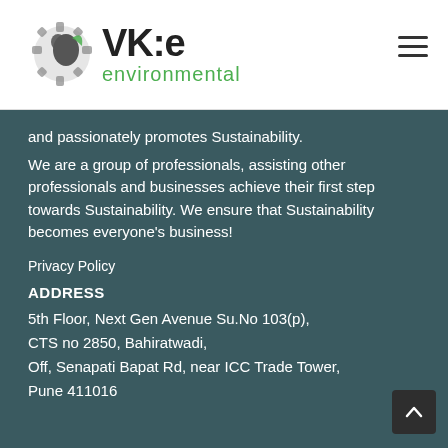[Figure (logo): VK:e environmental logo with gear/leaf icon]
and passionately promotes Sustainability.
We are a group of professionals, assisting other professionals and businesses achieve their first step towards Sustainability. We ensure that Sustainability becomes everyone’s business!
Privacy Policy
ADDRESS
5th Floor, Next Gen Avenue Su.No 103(p),
CTS no 2850, Bahiratwadi,
Off, Senapati Bapat Rd, near ICC Trade Tower,
Pune 411016